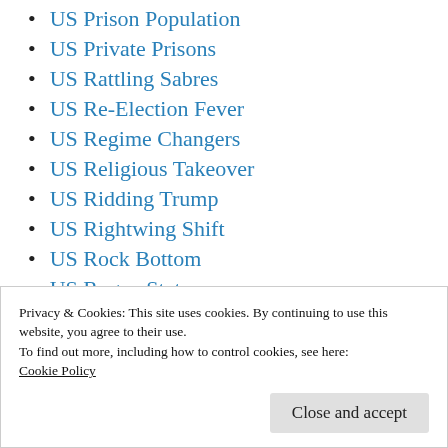US Prison Population
US Private Prisons
US Rattling Sabres
US Re-Election Fever
US Regime Changers
US Religious Takeover
US Ridding Trump
US Rightwing Shift
US Rock Bottom
US Rogue State
US Running Scared
Privacy & Cookies: This site uses cookies. By continuing to use this website, you agree to their use.
To find out more, including how to control cookies, see here:
Cookie Policy
US Subjugates Europe